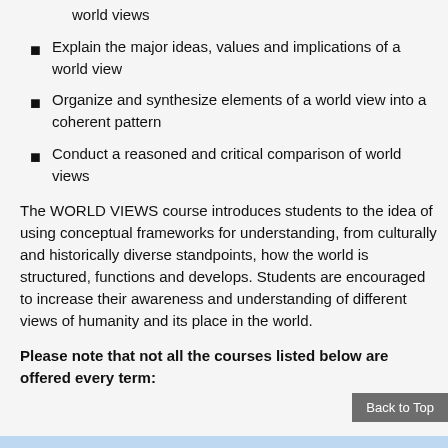world views
Explain the major ideas, values and implications of a world view
Organize and synthesize elements of a world view into a coherent pattern
Conduct a reasoned and critical comparison of world views
The WORLD VIEWS course introduces students to the idea of using conceptual frameworks for understanding, from culturally and historically diverse standpoints, how the world is structured, functions and develops. Students are encouraged to increase their awareness and understanding of different views of humanity and its place in the world.
Please note that not all the courses listed below are offered every term: